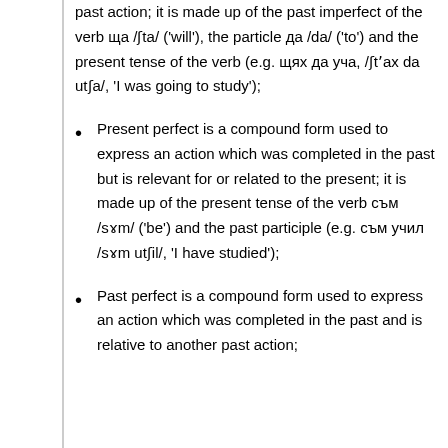past action; it is made up of the past imperfect of the verb ща /ʃta/ ('will'), the particle да /da/ ('to') and the present tense of the verb (e.g. щях да уча, /ʃtʼax da utʃa/, 'I was going to study');
Present perfect is a compound form used to express an action which was completed in the past but is relevant for or related to the present; it is made up of the present tense of the verb съм /sɤm/ ('be') and the past participle (e.g. съм учил /sɤm utʃil/, 'I have studied');
Past perfect is a compound form used to express an action which was completed in the past and is relative to another past action;